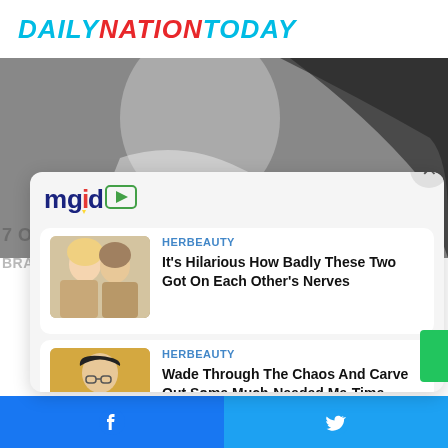DAILYNATIONTODAY
[Figure (photo): Background photo of a woman with dark hair in a white top]
7 Of Th...
BRA...
[Figure (screenshot): mgid advertising overlay widget with two article cards]
HERBEAUTY
It's Hilarious How Badly These Two Got On Each Other's Nerves
HERBEAUTY
Wade Through The Chaos And Carve Out Some Much-Needed Me-Time
Facebook share | Twitter share